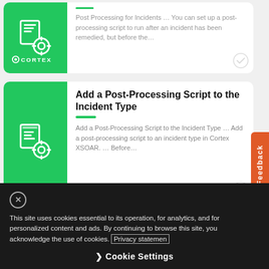[Figure (illustration): Cortex branded card partially visible at top — green thumbnail with document/settings icon and Cortex logo]
Post Processing for Incidents … You can set up a post-processing script to run after an incident has been remedied, but before the…
Add a Post-Processing Script to the Incident Type
[Figure (illustration): Cortex branded card — green thumbnail with document/settings icon and Cortex logo]
Add a Post-Processing Script to the Incident Type … Add a post-processing script to an incident type in Cortex XSOAR. … Before…
Create a Grid Field for an Incident Type
[Figure (illustration): Cortex branded card partial — green thumbnail with document/grid icon]
This site uses cookies essential to its operation, for analytics, and for personalized content and ads. By continuing to browse this site, you acknowledge the use of cookies. Privacy statemen
Cookie Settings